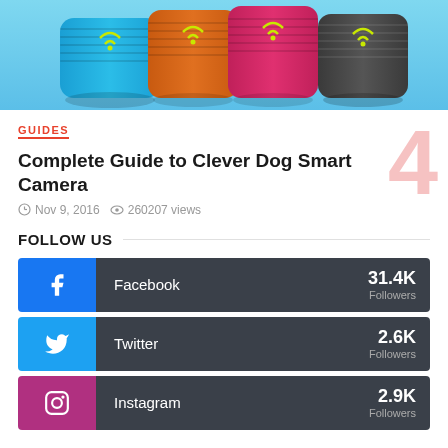[Figure (photo): Hero product image showing cylindrical smart cameras/speakers in blue, orange, pink, and dark gray colors on a light blue background]
GUIDES
Complete Guide to Clever Dog Smart Camera
Nov 9, 2016  260207 views
FOLLOW US
Facebook 31.4K Followers
Twitter 2.6K Followers
Instagram 2.9K Followers